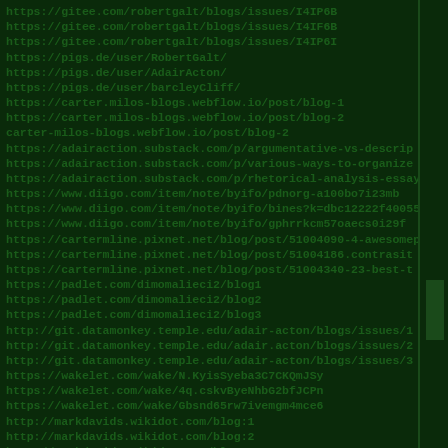https://gitee.com/robertgalt/blogs/issues/I4IP6B
https://gitee.com/robertgalt/blogs/issues/I4IF6B
https://gitee.com/robertgalt/blogs/issues/I4IP6I
https://pigs.de/user/RobertGalt/
https://pigs.de/user/AdairActon/
https://pigs.de/user/barcleyCliff/
https://carter.milos-blogs.webflow.io/post/blog-1
https://carter.milos-blogs.webflow.io/post/blog-2
carter-milos-blogs.webflow.io/post/blog-2
https://adairaction.substack.com/p/argumentative-vs-descrip
https://adairaction.substack.com/p/various-ways-to-organize
https://adairaction.substack.com/p/rhetorical-analysis-essay
https://www.diigo.com/item/note/byifo/pdnorg-a100bo7i23mb
https://www.diigo.com/item/note/byifo/bines?k=dbc12222f40055
https://www.diigo.com/item/note/byifo/gphrrkcm57oaecs0i29f
https://cartermline.pixnet.net/blog/post/51004090-4-awesomep
https://cartermline.pixnet.net/blog/post/51004186.contrasit
https://cartermline.pixnet.net/blog/post/51004340-23-best-t
https://padlet.com/dimomalieci2/blog1
https://padlet.com/dimomalieci2/blog2
https://padlet.com/dimomalieci2/blog3
http://git.datamonkey.temple.edu/adair-acton/blogs/issues/1
http://git.datamonkey.temple.edu/adair.acton/blogs/issues/2
http://git.datamonkey.temple.edu/adair-acton/blogs/issues/3
https://wakelet.com/wake/N.KyisSyeba3C7CKQmJSy
https://wakelet.com/wake/4q.cskvByeNhbG2bfJCPn
https://wakelet.com/wake/Gbsnd65rw7ivemgm4mce6
http://markdavids.wikidot.com/blog:1
http://markdavids.wikidot.com/blog:2
http://markdavids.wikidot.com/blog:3